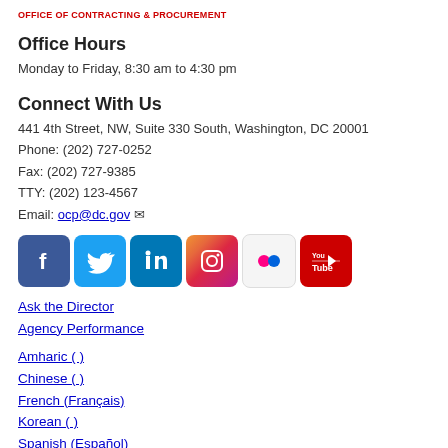OFFICE OF CONTRACTING & PROCUREMENT
Office Hours
Monday to Friday, 8:30 am to 4:30 pm
Connect With Us
441 4th Street, NW, Suite 330 South, Washington, DC 20001
Phone: (202) 727-0252
Fax: (202) 727-9385
TTY: (202) 123-4567
Email: ocp@dc.gov
[Figure (infographic): Social media icons: Facebook, Twitter, LinkedIn, Instagram, Flickr, YouTube]
Ask the Director
Agency Performance
Amharic (  )
Chinese (  )
French (Français)
Korean (  )
Spanish (Español)
Vietnamese (Tiếng Việt)